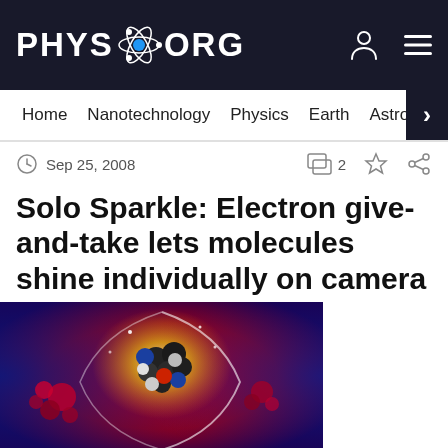PHYS.ORG
Home  Nanotechnology  Physics  Earth  Astronomy
Sep 25, 2008  |  2 comments
Solo Sparkle: Electron give-and-take lets molecules shine individually on camera
[Figure (illustration): Scientific illustration showing a glowing molecule (ball-and-stick model) with electron transfer visualization on a red and blue gradient background]